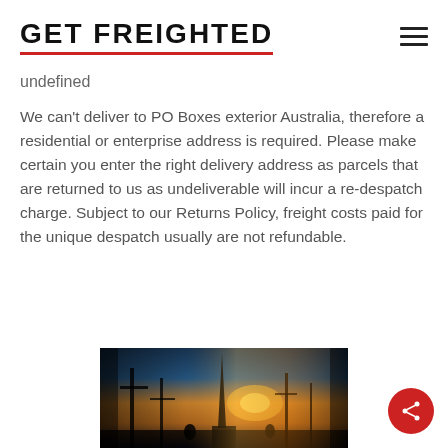GET FREIGHTED
undefined
We can't deliver to PO Boxes exterior Australia, therefore a residential or enterprise address is required. Please make certain you enter the right delivery address as parcels that are returned to us as undeliverable will incur a re-despatch charge. Subject to our Returns Policy, freight costs paid for the unique despatch usually are not refundable.
[Figure (photo): Silhouetted scene at a port or industrial area with a glowing sunset in the background, warm orange and golden light, dark foreground structures and figures.]